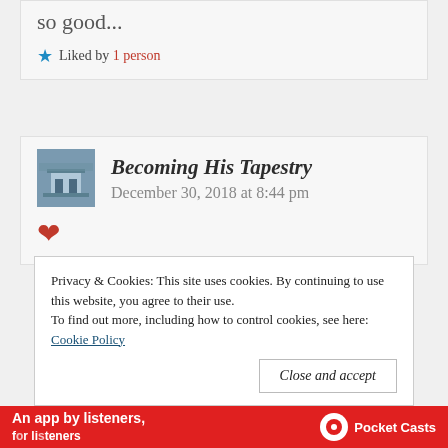so good...
Liked by 1 person
Becoming His Tapestry
December 30, 2018 at 8:44 pm
♥
Privacy & Cookies: This site uses cookies. By continuing to use this website, you agree to their use. To find out more, including how to control cookies, see here: Cookie Policy
Close and accept
An app by listeners, for listeners